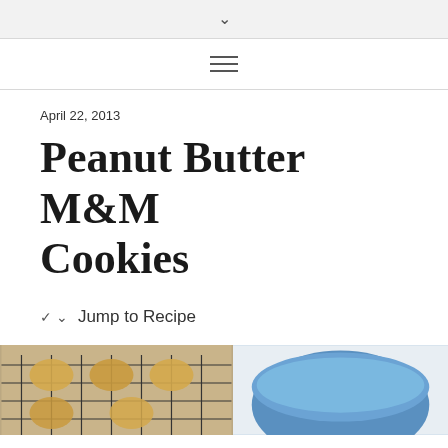▾
≡
April 22, 2013
Peanut Butter M&M Cookies
▾  Jump to Recipe
[Figure (photo): Photo of peanut butter M&M cookies on a wire cooling rack (left) and a blue bowl (right) on a light background.]